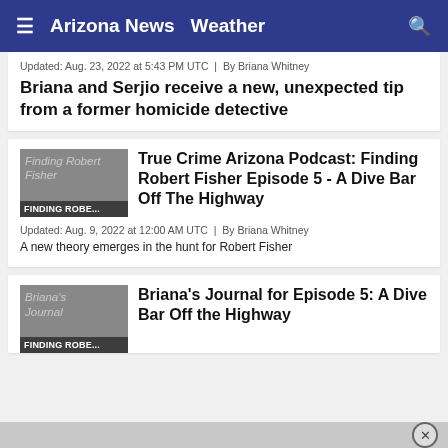≡  Arizona News  Weather  🔍
Updated: Aug. 23, 2022 at 5:43 PM UTC  |  By Briana Whitney
Briana and Serjio receive a new, unexpected tip from a former homicide detective
[Figure (screenshot): Thumbnail image with text 'Finding Robert Fisher' and label 'FINDING ROBE...']
True Crime Arizona Podcast: Finding Robert Fisher Episode 5 - A Dive Bar Off The Highway
Updated: Aug. 9, 2022 at 12:00 AM UTC  |  By Briana Whitney
A new theory emerges in the hunt for Robert Fisher
[Figure (screenshot): Thumbnail image with text 'Briana's Journal' and label 'FINDING ROBE...']
Briana's Journal for Episode 5: A Dive Bar Off the Highway